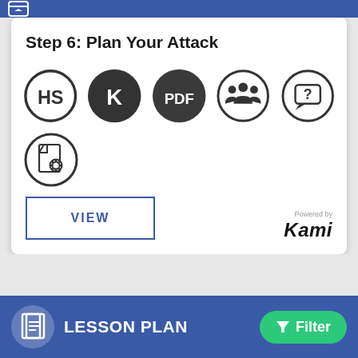Step 6: Plan Your Attack
[Figure (infographic): Six circular icons representing resources: HS (outlined circle), K (dark filled circle), PDF (dark filled circle), group/people icon (outlined circle), question mark speech bubble (outlined circle), and a settings/document icon (outlined circle)]
[Figure (other): VIEW button with blue border]
Powered by Kami
[Figure (logo): Kami logo with 'Powered by' text above]
LESSON PLAN
Filter